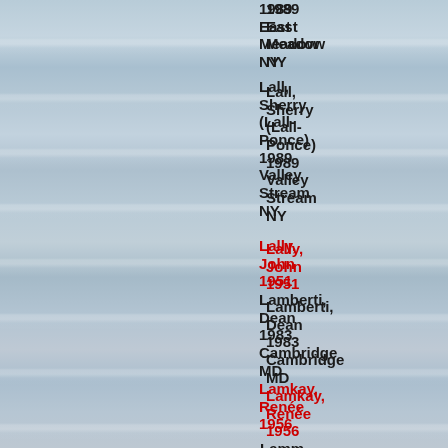[Figure (photo): Ocean waves background photo, multiple horizontal wave crests with white foam, blue-grey water, covering the left portion and background of the page.]
1989
East Meadow
NY
Lall, Sherry (Lall-Ponce)
1989
Valley Stream
NY
Lally, John
1951
Lamberti, Dean
1983
Cambridge
MD
Lamkay, Renée
1956
Lamm, Edwin
1952
Lakeland
FL
Lamm, Irwin
1956